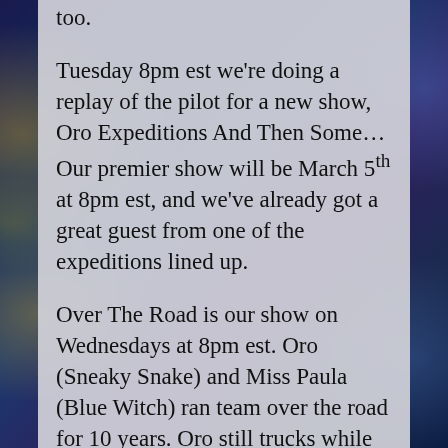too.
Tuesday 8pm est we're doing a replay of the pilot for a new show, Oro Expeditions And Then Some… Our premier show will be March 5th at 8pm est, and we've already got a great guest from one of the expeditions lined up.
Over The Road is our show on Wednesdays at 8pm est. Oro (Sneaky Snake) and Miss Paula (Blue Witch) ran team over the road for 10 years. Oro still trucks while Miss Paula produces radio shows, and we wanted a show about, by